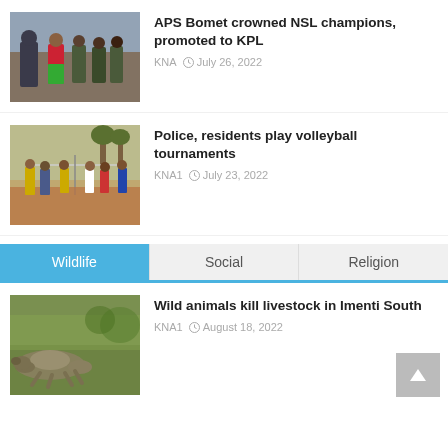[Figure (photo): Group of people in uniform, one person in red outfit being congratulated]
APS Bomet crowned NSL champions, promoted to KPL
KNA  July 26, 2022
[Figure (photo): People playing volleyball on a dirt court, some in uniform]
Police, residents play volleyball tournaments
KNA1  July 23, 2022
Wildlife | Social | Religion
[Figure (photo): Dead livestock on grass, killed by wild animals]
Wild animals kill livestock in Imenti South
KNA1  August 18, 2022